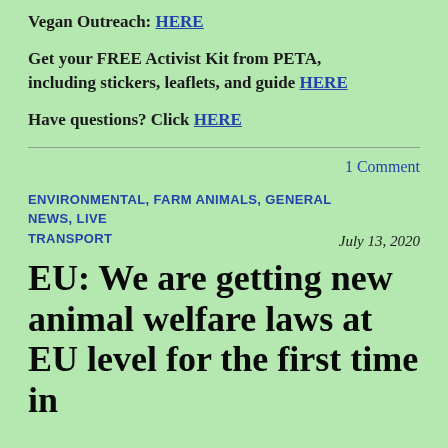Vegan Outreach: HERE
Get your FREE Activist Kit from PETA, including stickers, leaflets, and guide HERE
Have questions? Click HERE
1 Comment
ENVIRONMENTAL, FARM ANIMALS, GENERAL NEWS, LIVE TRANSPORT   July 13, 2020
EU: We are getting new animal welfare laws at EU level for the first time in